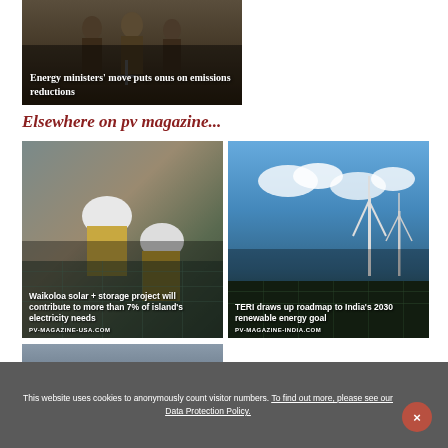[Figure (photo): Energy ministers at a podium with text overlay about emissions reductions]
Energy ministers' move puts onus on emissions reductions
Elsewhere on pv magazine...
[Figure (photo): Workers in hard hats near solar panels - Waikoloa solar + storage project will contribute to more than 7% of island's electricity needs. PV-MAGAZINE-USA.COM]
[Figure (photo): Wind turbines against blue sky - TERI draws up roadmap to India's 2030 renewable energy goal. PV-MAGAZINE-INDIA.COM]
[Figure (photo): Partial image of a solar/energy related facility]
This website uses cookies to anonymously count visitor numbers. To find out more, please see our Data Protection Policy.